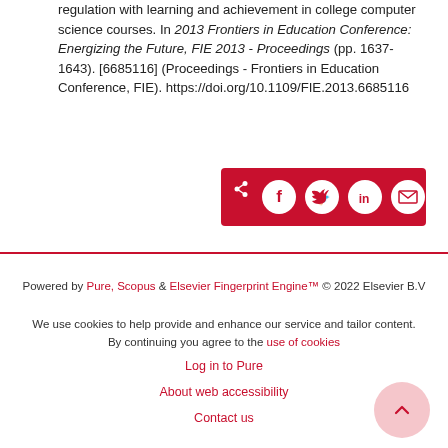regulation with learning and achievement in college computer science courses. In 2013 Frontiers in Education Conference: Energizing the Future, FIE 2013 - Proceedings (pp. 1637-1643). [6685116] (Proceedings - Frontiers in Education Conference, FIE). https://doi.org/10.1109/FIE.2013.6685116
[Figure (other): Social share bar with icons for share, Facebook, Twitter, LinkedIn, and email on a dark red background]
Powered by Pure, Scopus & Elsevier Fingerprint Engine™ © 2022 Elsevier B.V
We use cookies to help provide and enhance our service and tailor content. By continuing you agree to the use of cookies
Log in to Pure
About web accessibility
Contact us